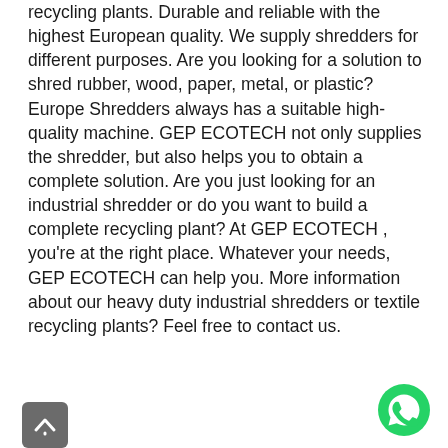recycling plants. Durable and reliable with the highest European quality. We supply shredders for different purposes. Are you looking for a solution to shred rubber, wood, paper, metal, or plastic? Europe Shredders always has a suitable high-quality machine. GEP ECOTECH not only supplies the shredder, but also helps you to obtain a complete solution. Are you just looking for an industrial shredder or do you want to build a complete recycling plant? At GEP ECOTECH , you're at the right place. Whatever your needs, GEP ECOTECH can help you. More information about our heavy duty industrial shredders or textile recycling plants? Feel free to contact us.
[Figure (other): Grey scroll-to-top button at bottom left]
[Figure (other): Green WhatsApp chat button at bottom right]